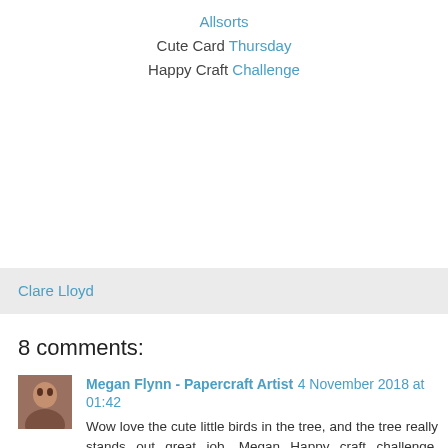Allsorts Cute Card Thursday Happy Craft Challenge
Clare Lloyd
8 comments:
Megan Flynn - Papercraft Artist 4 November 2018 at 01:42
Wow love the cute little birds in the tree, and the tree really stands out great job. Megan Happy craft challenge, anything goes, https://thehappycraftchallenge.blogspot.com/